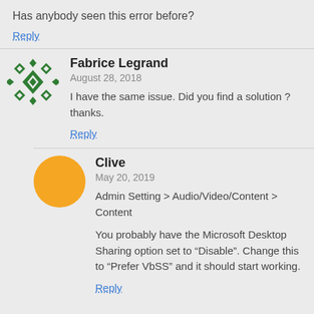Has anybody seen this error before?
Reply
Fabrice Legrand
August 28, 2018
I have the same issue. Did you find a solution ? thanks.
Reply
Clive
May 20, 2019
Admin Setting > Audio/Video/Content > Content
You probably have the Microsoft Desktop Sharing option set to “Disable”. Change this to “Prefer VbSS” and it should start working.
Reply